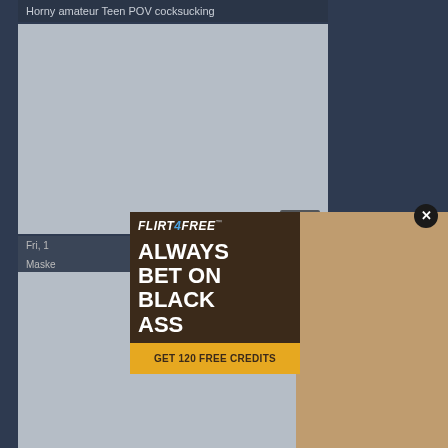Horny amateur Teen POV cocksucking
[Figure (screenshot): Video thumbnail placeholder, grey rectangle with duration badge '04:50']
04:50
Fri, 1
Maske
[Figure (screenshot): Second video thumbnail placeholder, grey rectangle]
[Figure (advertisement): Flirt4Free ad overlay with text 'ALWAYS BET ON BLACK ASS' and CTA 'GET 120 FREE CREDITS']
FLIRT4FREE
ALWAYS BET ON BLACK ASS
GET 120 FREE CREDITS